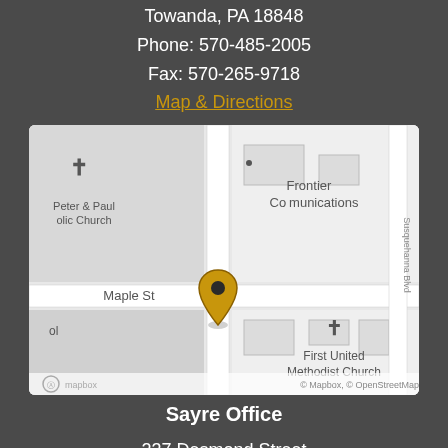Towanda, PA 18848
Phone: 570-485-2005
Fax: 570-265-9718
Map & Directions
[Figure (map): Mapbox street map showing location pin near Frontier Communications, with Peter & Paul Catholic Church to the left, Maple St below, and First United Methodist Church to the lower right. Attribution: © Mapbox, © OpenStreetMap]
Sayre Office
237 Desmond Street
Sayre, PA 18840
Phone: 570-485-2005